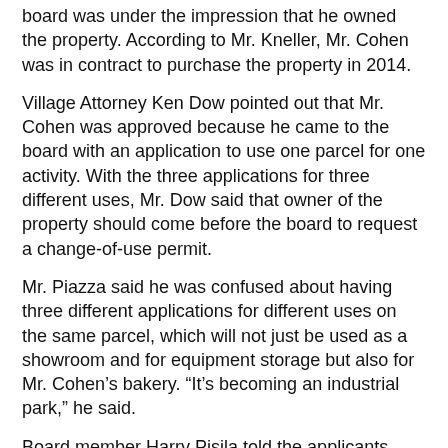board was under the impression that he owned the property. According to Mr. Kneller, Mr. Cohen was in contract to purchase the property in 2014.
Village Attorney Ken Dow pointed out that Mr. Cohen was approved because he came to the board with an application to use one parcel for one activity. With the three applications for three different uses, Mr. Dow said that owner of the property should come before the board to request a change-of-use permit.
Mr. Piazza said he was confused about having three different applications for different uses on the same parcel, which will not just be used as a showroom and for equipment storage but also for Mr. Cohen’s bakery. “It’s becoming an industrial park,” he said.
Board member Harry Pisila told the applicants, “We’d like to see the site used.” But he stressed that the owner needed to come to the board with a site plan for the space, including a plan for parking spaces. “The owner should do a comprehensive plan for the parcel,” Mr. Pisila said.
Mr. Dow said that this was all one parcel that is subject to zoning rules and that applying for a change of use cannot be done in three different applications. He said that the